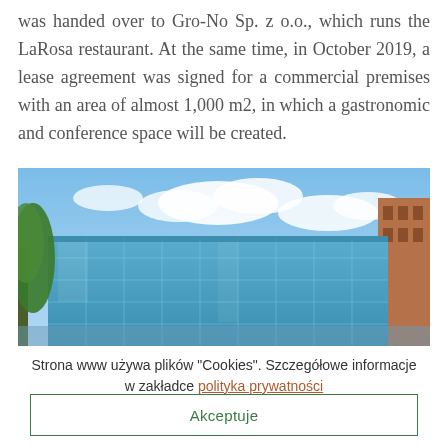was handed over to Gro-No Sp. z o.o., which runs the LaRosa restaurant. At the same time, in October 2019, a lease agreement was signed for a commercial premises with an area of almost 1,000 m2, in which a gastronomic and conference space will be created.
[Figure (photo): Photograph of a modern glass office building with blue reflective windows under a blue sky with white clouds. Green trees visible on the left, brick building on the right.]
Strona www używa plików "Cookies". Szczegółowe informacje w zakładce polityka prywatności
Akceptuje